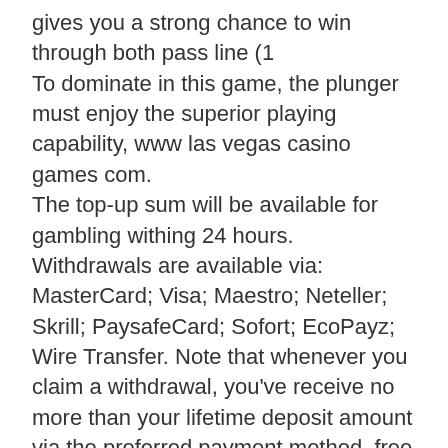gives you a strong chance to win through both pass line (1
To dominate in this game, the plunger must enjoy the superior playing capability, www las vegas casino games com.
The top-up sum will be available for gambling withing 24 hours. Withdrawals are available via: MasterCard; Visa; Maestro; Neteller; Skrill; PaysafeCard; Sofort; EcoPayz; Wire Transfer. Note that whenever you claim a withdrawal, you've receive no more than your lifetime deposit amount via the preferred payment method, free online casino games lobstermania. The remaining sum will be transferred to your bank account using Wire Transfer. You may be asked to provide such documents as your Photographic ID, Utility Bill, Proof of ownership of the deposit.
Las vegas casinos are an absolute blast.